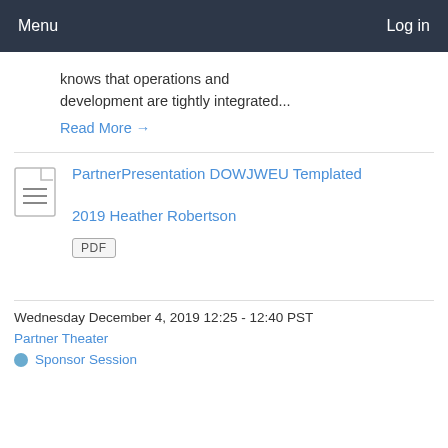Menu    Log in
knows that operations and development are tightly integrated...
Read More →
PartnerPresentation DOWJWEU Templated 2019 Heather Robertson
PDF
Wednesday December 4, 2019 12:25 - 12:40 PST
Partner Theater
Sponsor Session